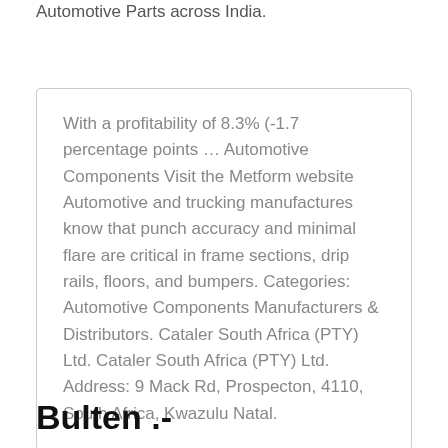Automotive Parts across India.
With a profitability of 8.3% (-1.7 percentage points … Automotive Components Visit the Metform website Automotive and trucking manufactures know that punch accuracy and minimal flare are critical in frame sections, drip rails, floors, and bumpers. Categories: Automotive Components Manufacturers & Distributors. Cataler South Africa (PTY) Ltd. Cataler South Africa (PTY) Ltd. Address: 9 Mack Rd, Prospecton, 4110, South Africa, Kwazulu Natal.
Bulten .-